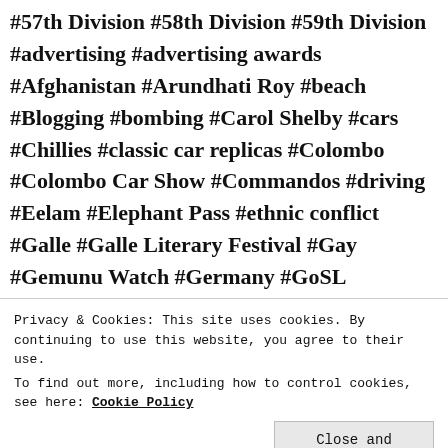#57th Division #58th Division #59th Division #advertising #advertising awards #Afghanistan #Arundhati Roy #beach #Blogging #bombing #Carol Shelby #cars #Chillies #classic car replicas #Colombo #Colombo Car Show #Commandos #driving #Eelam #Elephant Pass #ethnic conflict #Galle #Galle Literary Festival #Gay #Gemunu Watch #Germany #GoSL #Government of Sri Lanka #guilt #heartbreak #hope #IEDs #Iraq #James Bond #JVP #Kilinochchi #kit cars #Light Infantry #Literature #loss #Love #LTTE #Mercenaries #MIA #Mini #Mullaitivu #No Fire Zone #Peace #Phoenix Ogilvy #PMCs #Python #racism #RV Dynamics #SEAL #Sex #Sinha Rifles #SL Army #SL Navy #snipers #Special Forces #Sri Lanka
Privacy & Cookies: This site uses cookies. By continuing to use this website, you agree to their use. To find out more, including how to control cookies, see here: Cookie Policy
Close and accept
Great